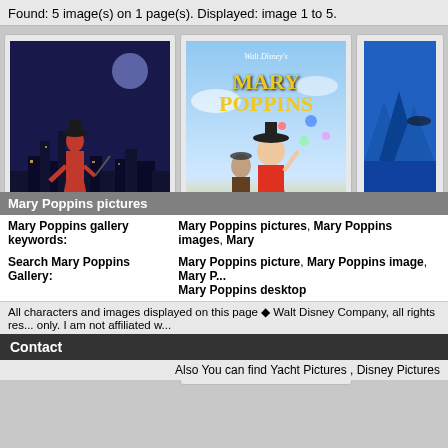Found: 5 image(s) on 1 page(s). Displayed: image 1 to 5.
[Figure (photo): Mary Poppins movie poster - woman in red coat against London skyline silhouette]
marypoppins-1-1024x768 picture
Mary Poppins wallpapers
[Figure (photo): Walt Disney's Mary Poppins movie poster - Julie Andrews tipping hat with colorful background and London skyline]
marypoppins picture
Mary Poppins wallpapers
[Figure (photo): Mary Poppins wallpaper - partial view, blue tones]
mary-po...
Mary Popp...
| Mary Poppins gallery keywords: | Mary Poppins pictures, Mary Poppins images, Mary... |
| Search Mary Poppins Gallery: | Mary Poppins picture, Mary Poppins image, Mary P... Mary Poppins desktop |
All characters and images displayed on this page ♦ Walt Disney Company, all rights res... only. I am not affiliated w...
Contact
Also You can find Yacht Pictures , Disney Pictures